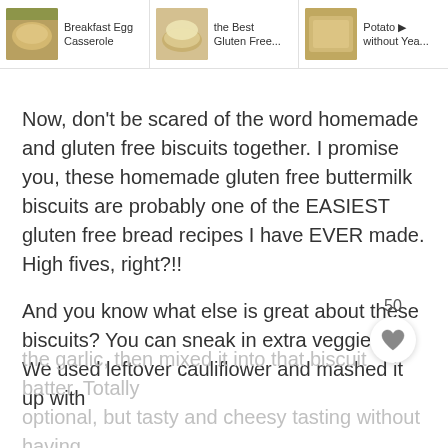[Figure (screenshot): Top navigation bar with three recipe thumbnails: Breakfast Egg Casserole, the Best Gluten Free..., Potato... without Yea...]
Now, don't be scared of the word homemade and gluten free biscuits together. I promise you, these homemade gluten free buttermilk biscuits are probably one of the EASIEST gluten free bread recipes I have EVER made. High fives, right?!!
And you know what else is great about these biscuits? You can sneak in extra veggies!
We used leftover cauliflower and mashed it up with
the garlic, then mixed it into that biscuit batter. Totally optional, but tasty and cheesy tasting without having